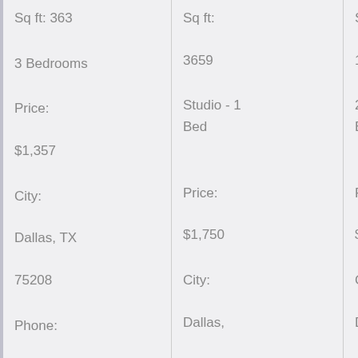Sq ft: 363
3 Bedrooms
Price:
$1,357
City:
Dallas, TX 75208
Phone:
Sq ft:
3659
Studio - 1 Bed
Price:
$1,750
City:
Dallas, TX 75210
Sq ft:
1038
2 Bedrooms
Price:
$8,187
City:
Dallas, TX 75208
Sq ft: 1911
Studio - 3 Beds
Price: $5,41
City: Dallas, TX 75209
Phone: (469 157-4348